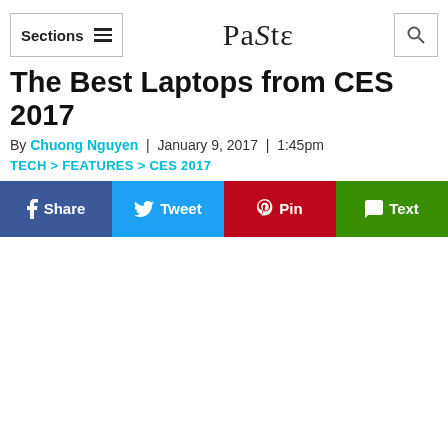Sections  ≡   PaStɛ   🔍
The Best Laptops from CES 2017
By Chuong Nguyen  |  January 9, 2017  |  1:45pm
TECH > FEATURES > CES 2017
[Figure (other): Social sharing buttons: Share (Facebook, blue), Tweet (Twitter, light blue), Pin (Pinterest, dark red), Text (green)]